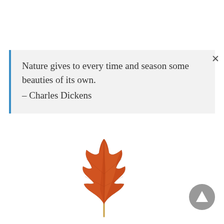Nature gives to every time and season some beauties of its own.
– Charles Dickens
[Figure (illustration): An autumn maple leaf in orange-red color, positioned at bottom center of page]
[Figure (other): A grey circular scroll-to-top button with an upward triangle arrow, positioned at bottom right]